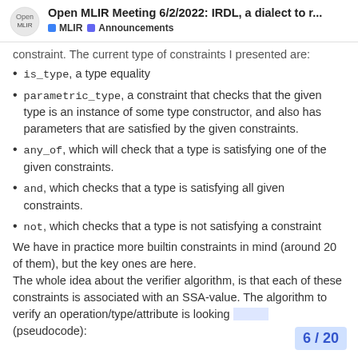Open MLIR Meeting 6/2/2022: IRDL, a dialect to r... | MLIR | Announcements
constraint. The current type of constraints I presented are:
is_type, a type equality
parametric_type, a constraint that checks that the given type is an instance of some type constructor, and also has parameters that are satisfied by the given constraints.
any_of, which will check that a type is satisfying one of the given constraints.
and, which checks that a type is satisfying all given constraints.
not, which checks that a type is not satisfying a constraint
We have in practice more builtin constraints in mind (around 20 of them), but the key ones are here.
The whole idea about the verifier algorithm, is that each of these constraints is associated with an SSA-value. The algorithm to verify an operation/type/attribute is looking [at this] (pseudocode):
6 / 20